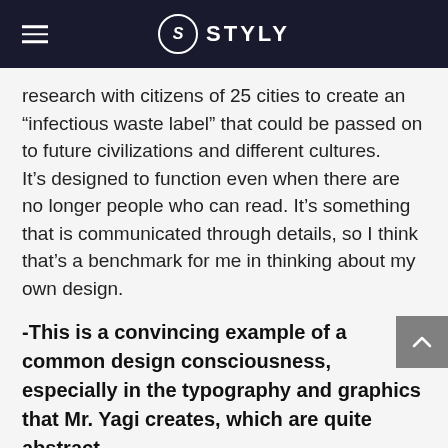STYLY
research with citizens of 25 cities to create an “infectious waste label” that could be passed on to future civilizations and different cultures.
It’s designed to function even when there are no longer people who can read. It’s something that is communicated through details, so I think that’s a benchmark for me in thinking about my own design.
-This is a convincing example of a common design consciousness, especially in the typography and graphics that Mr. Yagi creates, which are quite abstract.